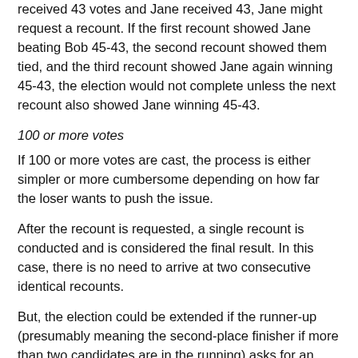received 43 votes and Jane received 43, Jane might request a recount. If the first recount showed Jane beating Bob 45-43, the second recount showed them tied, and the third recount showed Jane again winning 45-43, the election would not complete unless the next recount also showed Jane winning 45-43.
100 or more votes
If 100 or more votes are cast, the process is either simpler or more cumbersome depending on how far the loser wants to push the issue.
After the recount is requested, a single recount is conducted and is considered the final result. In this case, there is no need to arrive at two consecutive identical recounts.
But, the election could be extended if the runner-up (presumably meaning the second-place finisher if more than two candidates are in the running) asks for an additional recount. If he or she does, a number of things must happen. First, the request is placed in the minutes. Second, the physical ballots are placed in a container with a tamper evident seal. Third, the ballots must be delivered